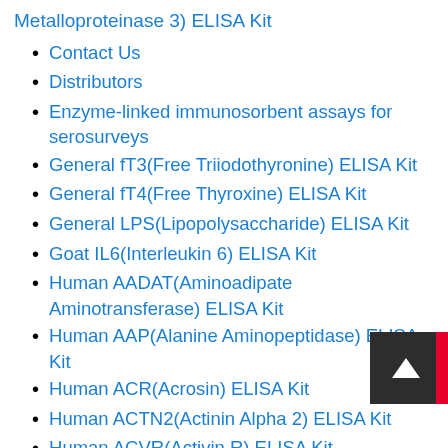Metalloproteinase 3) ELISA Kit
Contact Us
Distributors
Enzyme-linked immunosorbent assays for serosurveys
General fT3(Free Triiodothyronine) ELISA Kit
General fT4(Free Thyroxine) ELISA Kit
General LPS(Lipopolysaccharide) ELISA Kit
Goat IL6(Interleukin 6) ELISA Kit
Human AADAT(Aminoadipate Aminotransferase) ELISA Kit
Human AAP(Alanine Aminopeptidase) ELISA Kit
Human ACR(Acrosin) ELISA Kit
Human ACTN2(Actinin Alpha 2) ELISA Kit
Human ACVR(Activin R) ELISA Kit